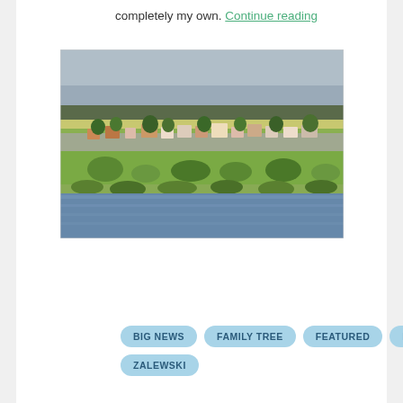completely my own. Continue reading
[Figure (photo): Landscape photo showing a Polish village with houses and trees in the background, green fields and shrubs in the middle ground, and a wide river in the foreground under a hazy grey-blue sky.]
BIG NEWS
FAMILY TREE
FEATURED
POLISH
ZALEWSKI